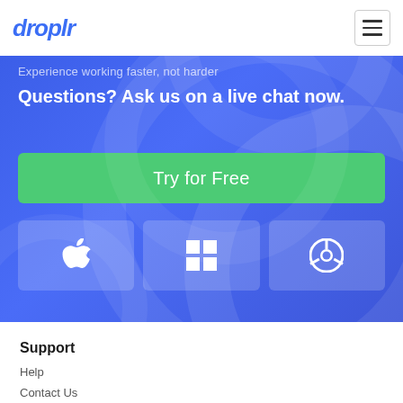droplr
Experience working faster, not harder
Questions? Ask us on a live chat now.
Try for Free
[Figure (illustration): Three platform download buttons: Apple (Mac), Windows, and Chrome browser icons in rounded rectangle buttons on blue background]
Support
Help
Contact Us
Knowledge Base
Status